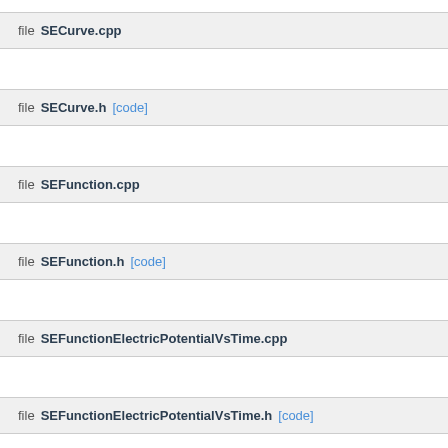file SECurve.cpp
file SECurve.h [code]
file SEFunction.cpp
file SEFunction.h [code]
file SEFunctionElectricPotentialVsTime.cpp
file SEFunctionElectricPotentialVsTime.h [code]